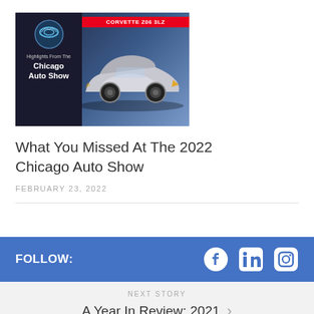[Figure (photo): Thumbnail image for Chicago Auto Show article, showing a Corvette Z06 3LZ sports car on display, with the Chicago Auto Show logo and text 'Highlights From The Chicago Auto Show' on the left side, and a red banner reading 'CORVETTE Z06 3LZ' on the right side.]
What You Missed At The 2022 Chicago Auto Show
FEBRUARY 23, 2022
FOLLOW:
NEXT STORY
A Year In Review: 2021
PREVIOUS STORY
Chevrolet Silverado EV: Top 5 Facts